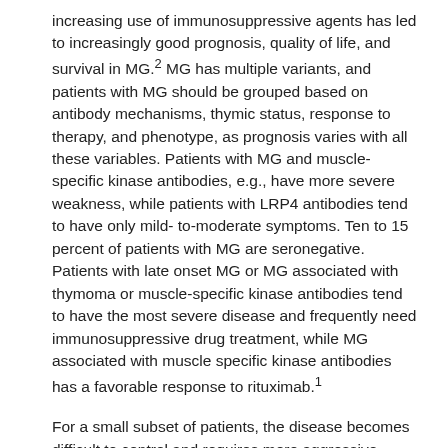increasing use of immunosuppressive agents has led to increasingly good prognosis, quality of life, and survival in MG.² MG has multiple variants, and patients with MG should be grouped based on antibody mechanisms, thymic status, response to therapy, and phenotype, as prognosis varies with all these variables. Patients with MG and muscle-specific kinase antibodies, e.g., have more severe weakness, while patients with LRP4 antibodies tend to have only mild-to-moderate symptoms. Ten to 15 percent of patients with MG are seronegative. Patients with late onset MG or MG associated with thymoma or muscle-specific kinase antibodies tend to have the most severe disease and frequently need immunosuppressive drug treatment, while MG associated with muscle specific kinase antibodies has a favorable response to rituximab.¹
For a small subset of patients, the disease becomes difficult to control and requires more aggressive treatment.³·⁴ Patients are considered treatment-refractory when there are persistent symptoms or side effects that limit functioning after an adequate trial of corticosteroids and at least two other immunosuppressive agents. They represent about 10 percent of generalized patients with MG.² Patients with treatment-refractory MG have increased rates of myasthenic crises and exacerbations; they are twice as likely to die at one-year follow-up compared to patients with nonrefractory MG. Additionally, they experience a higher burden of disease